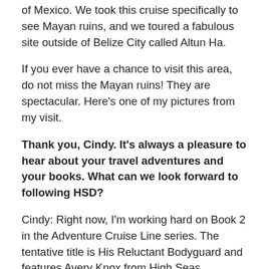of Mexico. We took this cruise specifically to see Mayan ruins, and we toured a fabulous site outside of Belize City called Altun Ha.
If you ever have a chance to visit this area, do not miss the Mayan ruins! They are spectacular. Here's one of my pictures from my visit.
Thank you, Cindy. It's always a pleasure to hear about your travel adventures and your books. What can we look forward to following HSD?
Cindy: Right now, I'm working hard on Book 2 in the Adventure Cruise Line series. The tentative title is His Reluctant Bodyguard and features Avery Knox from High Seas Deception as the heroine. I hope to have the story completed and the book available online by the end of the summer. This will be a real challenge, so please keep your